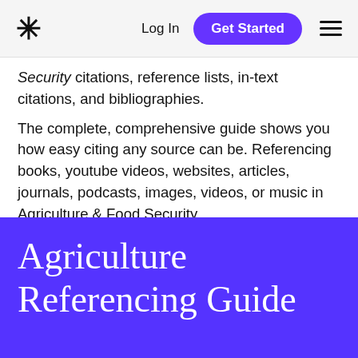* Log In  Get Started  ≡
Security citations, reference lists, in-text citations, and bibliographies.
The complete, comprehensive guide shows you how easy citing any source can be. Referencing books, youtube videos, websites, articles, journals, podcasts, images, videos, or music in Agriculture & Food Security.
Agriculture Referencing Guide